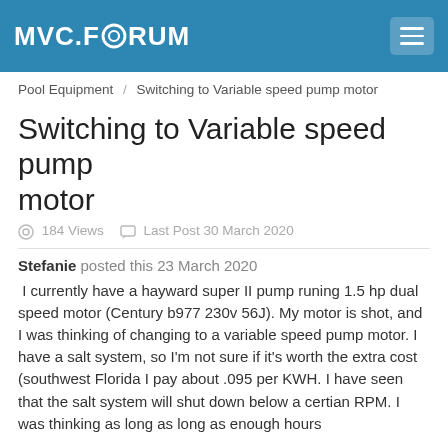MVC.FORUM
Pool Equipment / Switching to Variable speed pump motor
Switching to Variable speed pump motor
184 Views   Last Post 30 March 2020
Stefanie posted this 23 March 2020
I currently have a hayward super II pump runing 1.5 hp dual speed motor (Century b977 230v 56J). My motor is shot, and I was thinking of changing to a variable speed pump motor. I have a salt system, so I'm not sure if it's worth the extra cost (southwest Florida I pay about .095 per KWH. I have seen that the salt system will shut down below a certian RPM. I was thinking as long as long as enough hours